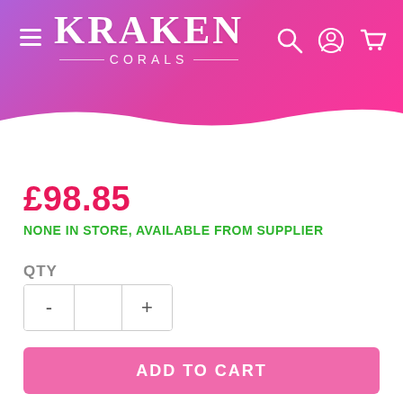[Figure (logo): Kraken Corals website header with gradient purple-to-pink background, hamburger menu icon on left, KRAKEN CORALS logo in center, and search/account/cart icons on right]
£98.85
NONE IN STORE, AVAILABLE FROM SUPPLIER
QTY
[Figure (other): Quantity selector control with minus (-) button, empty input field, and plus (+) button]
ADD TO CART